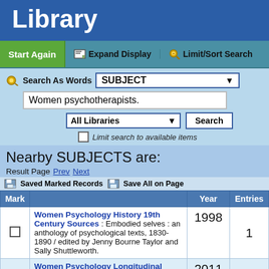Library
Start Again   Expand Display   Limit/Sort Search
Search As Words SUBJECT
Women psychotherapists.
All Libraries   Search
Limit search to available items
Nearby SUBJECTS are:
Result Page  Prev  Next
Saved Marked Records   Save All on Page
| Mark |  | Year | Entries |
| --- | --- | --- | --- |
| ☐ | Women Psychology History 19th Century Sources : Embodied selves : an anthology of psychological texts, 1830-1890 / edited by Jenny Bourne Taylor and Sally Shuttleworth. | 1998 | 1 |
|  | Women Psychology Longitudinal Studies : Joining | 2011 |  |